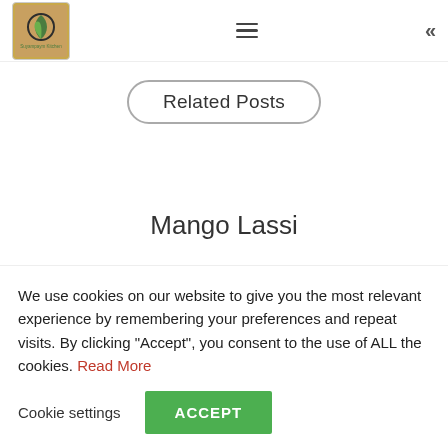Suyampaym Kitchen (logo) — navigation header with hamburger menu and back chevron
Related Posts
Mango Lassi
We use cookies on our website to give you the most relevant experience by remembering your preferences and repeat visits. By clicking "Accept", you consent to the use of ALL the cookies. Read More
Cookie settings | ACCEPT